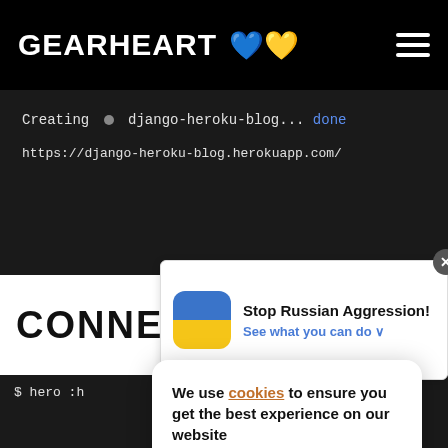GEARHEART 💙💛
Creating ● django-heroku-blog... done
https://django-heroku-blog.herokuapp.com/
CONNE
$ hero ...:h

Creati ...
Databa ... le
  ! Thi ... y
  ! dat ... py
Created postgresql-acute-85745 as DATABASE
Use heroku addons:docs heroku-postgresql
[Figure (infographic): Ukraine flag advertisement overlay: Stop Russian Aggression! See what you can do]
[Figure (infographic): Cookie consent banner: We use cookies to ensure you get the best experience on our website. GOT IT button.]